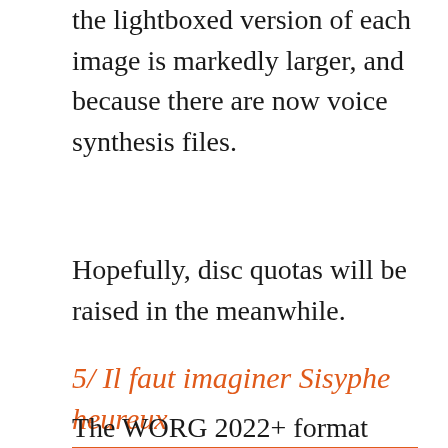the lightboxed version of each image is markedly larger, and because there are now voice synthesis files.
Hopefully, disc quotas will be raised in the meanwhile.
5/ Il faut imaginer Sisyphe heureux
The WORG 2022+ format involves a lot of manual work – a 40+ steps